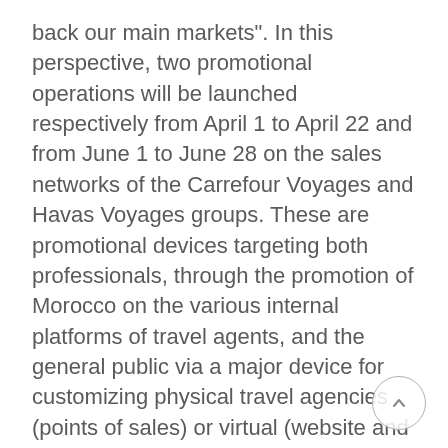back our main markets". In this perspective, two promotional operations will be launched respectively from April 1 to April 22 and from June 1 to June 28 on the sales networks of the Carrefour Voyages and Havas Voyages groups. These are promotional devices targeting both professionals, through the promotion of Morocco on the various internal platforms of travel agents, and the general public via a major device for customizing physical travel agencies (points of sales) or virtual (website and social networks). Also and with the aim of boosting Morocco sales this summer, the ONMT in partnership with the Carrefour Voyages group as well as with Havas Voyages, has planned training operations on the Morocco product for more than 600 sales experts, who will be able to immerse themselves in the richness of the Moroccan tourist offer and its new trendy destinations. By attacking the distribution networks, the ONMT touches an important link in the prescription and distribution of travel in France, and